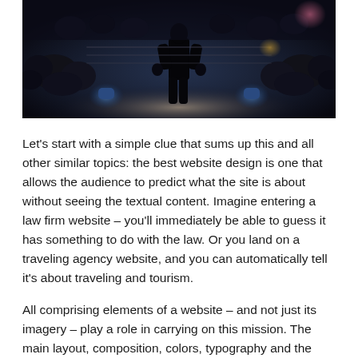[Figure (photo): Dark dramatic photo of a person (silhouette) standing in what appears to be a boxing arena or sports venue, with audience members visible seated around, and ring lights/spotlights illuminating the scene from below.]
Let's start with a simple clue that sums up this and all other similar topics: the best website design is one that allows the audience to predict what the site is about without seeing the textual content. Imagine entering a law firm website – you'll immediately be able to guess it has something to do with the law. Or you land on a traveling agency website, and you can automatically tell it's about traveling and tourism.
All comprising elements of a website – and not just its imagery – play a role in carrying on this mission. The main layout, composition, colors, typography and the elements are a part of it. The very same thing is true about a sports website. In this post, we'll provide some